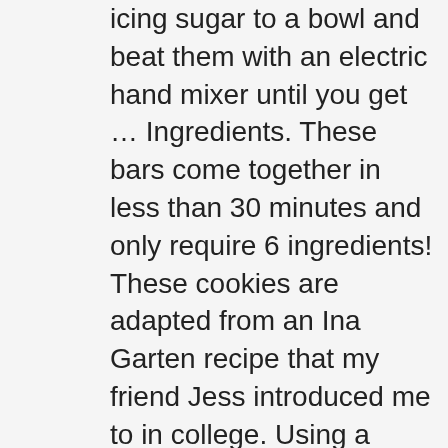icing sugar to a bowl and beat them with an electric hand mixer until you get … Ingredients. These bars come together in less than 30 minutes and only require 6 ingredients! These cookies are adapted from an Ina Garten recipe that my friend Jess introduced me to in college. Using a delicious jam, like the ones from Good Good jams, only helps! This is a really simple cookie to … Baking these cookies… Add the flour and salt, and mix to form a soft, smooth dough. Friends shared this easy old fashioned cookie recipe and it has become a new favorite Christmas cookie … I made a single batch yesterday and my kids have already told me I didn't make enough. How to make Peanut Butter & Jam Thumbprint Cookies. Separately, sift together the flour and salt. Squeeze about 1/2 teaspoons of the spread into each cookie. Can't beat jam-filled, buttery shortbread cookies made from ONLY 4-ingredients! Perfect for Christmas along with our other holiday favorites, Healthier Sugar Cookies and Healthier Candy Cane Cookies! Cool 2 minutes on cookie sheets. 9. © / TM / ® Smucker Foods of Canada Corp. or its affiliates. These bars are so simple and take just minutes to make. Add